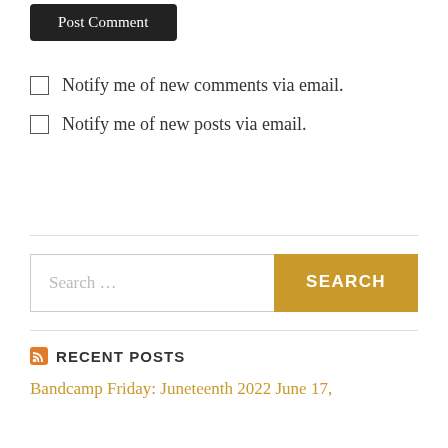Post Comment
Notify me of new comments via email.
Notify me of new posts via email.
Search …
SEARCH
RECENT POSTS
Bandcamp Friday: Juneteenth 2022 June 17,